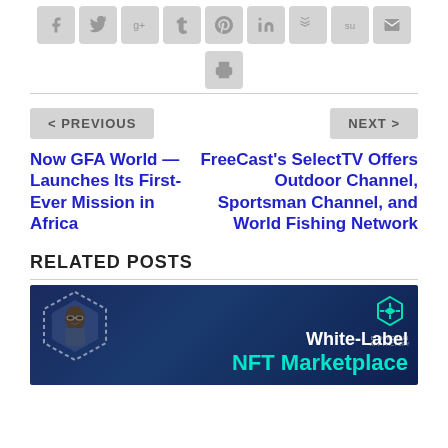[Figure (infographic): Row of social sharing icon buttons: Facebook, Twitter, Google+, Tumblr, Pinterest, LinkedIn, Buffer, StumbleUpon, Email, and a Print button below]
< PREVIOUS
NEXT >
Now GFA World — Launches Its First-Ever Mission in Africa
FreeCast's SelectTV Offers Outdoor Channel, Sportsman Channel, and World Fishing Network
RELATED POSTS
[Figure (photo): Promotional image for White-Label NFT Marketplace by Blockchain App Factory, showing a character in a hexagon frame on a dark blue tech background with teal text reading 'NFT Marketplace']